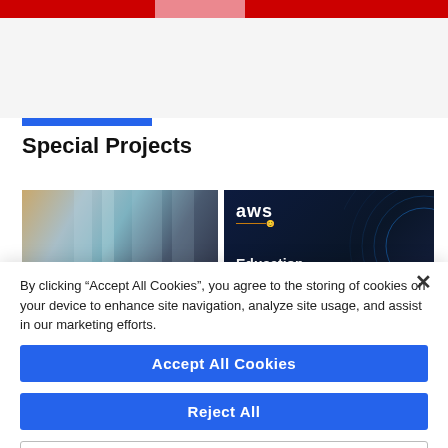[Figure (screenshot): Top red banner with lighter center block, partial webpage header]
Special Projects
[Figure (photo): Left card: blurred silhouettes of people in a hallway, text 'Platform' overlaid at bottom left]
[Figure (screenshot): Right card: AWS dark navy background with circular line graphic, AWS logo, text 'Education and government']
By clicking “Accept All Cookies”, you agree to the storing of cookies on your device to enhance site navigation, analyze site usage, and assist in our marketing efforts.
Accept All Cookies
Reject All
Cookies Settings